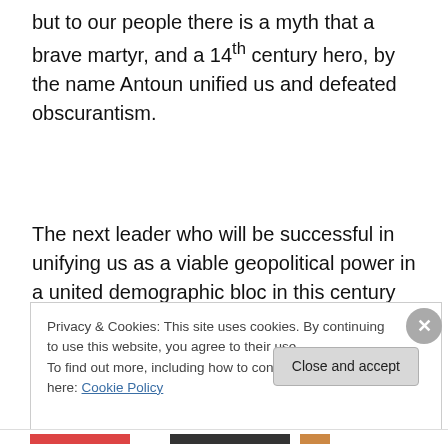but to our people there is a myth that a brave martyr, and a 14th century hero, by the name Antoun unified us and defeated obscurantism.
The next leader who will be successful in unifying us as a viable geopolitical power in a united demographic bloc in this century will be given the highest honorable title of Antoun
Privacy & Cookies: This site uses cookies. By continuing to use this website, you agree to their use.
To find out more, including how to control cookies, see here: Cookie Policy
Close and accept